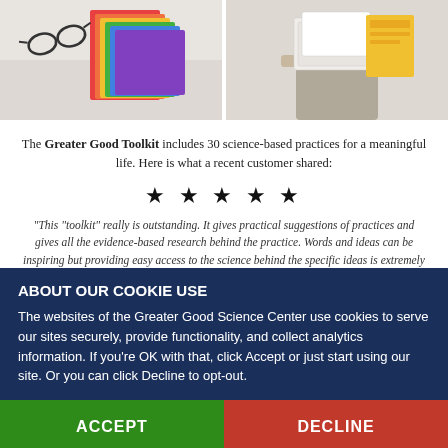[Figure (photo): Two side-by-side photos: left shows glasses and colorful folders/notebooks on a marble surface; right shows a person holding planners/cards with a yellow card visible]
The Greater Good Toolkit includes 30 science-based practices for a meaningful life. Here is what a recent customer shared:
★ ★ ★ ★ ★
"This "toolkit" really is outstanding. It gives practical suggestions of practices and gives all the evidence-based research behind the practice. Words and ideas can be inspiring but providing easy access to the science behind the specific ideas is extremely helpful. Plus is it visually lovely."
ABOUT OUR COOKIE USE
The websites of the Greater Good Science Center use cookies to serve our sites securely, provide functionality, and collect analytics information. If you're OK with that, click Accept or just start using our site. Or you can click Decline to opt-out.
ACCEPT
DECLINE